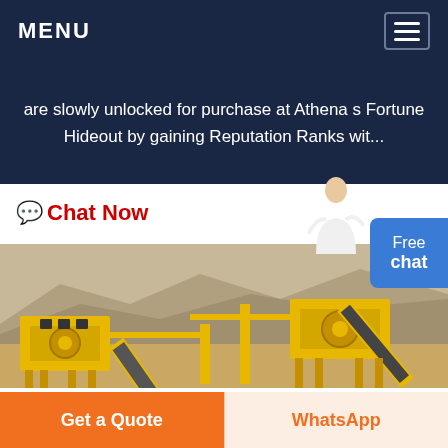MENU
are slowly unlocked for purchase at Athena s Fortune Hideout by gaining Reputation Ranks wit...
Chat Now
[Figure (photo): Yellow mining/crushing equipment with conveyor belts at an open-pit quarry site with rocky hills in background]
Get a Quote
WhatsApp